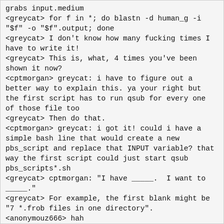grabs input.medium
<greycat> for f in *; do blastn -d human_g -i "$f" -o "$f".output; done
<greycat> I don't know how many fucking times I have to write it!
<greycat> This is, what, 4 times you've been shown it now?
<cptmorgan> greycat: i have to figure out a better way to explain this. ya your right but the first script has to run qsub for every one of those file too
<greycat> Then do that.
<cptmorgan> greycat: i got it! could i have a simple bash line that would create a new pbs_script and replace that INPUT variable? that way the first script could just start qsub pbs_scripts*.sh
<greycat> cptmorgan: "I have _____. I want to _____."
<greycat> For example, the first blank might be "7 *.frob files in one directory".
<anonymouz666> hah
<greycat> The second might be "run qsub